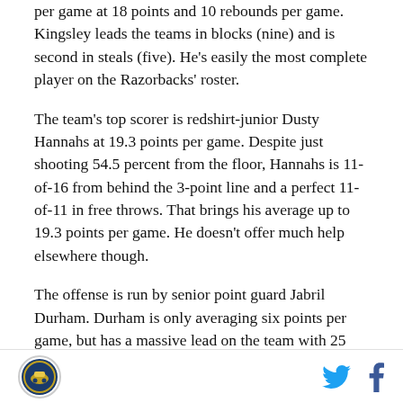per game at 18 points and 10 rebounds per game. Kingsley leads the teams in blocks (nine) and is second in steals (five). He's easily the most complete player on the Razorbacks' roster.
The team's top scorer is redshirt-junior Dusty Hannahs at 19.3 points per game. Despite just shooting 54.5 percent from the floor, Hannahs is 11-of-16 from behind the 3-point line and a perfect 11-of-11 in free throws. That brings his average up to 19.3 points per game. He doesn't offer much help elsewhere though.
The offense is run by senior point guard Jabril Durham. Durham is only averaging six points per game, but has a massive lead on the team with 25 assists. No one…